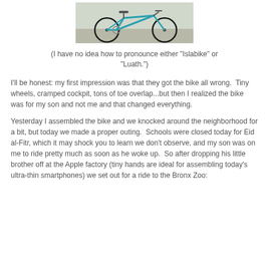[Figure (photo): A teal/turquoise bicycle (Islabike Luath children's road bike) photographed outdoors on pavement, showing the frame, wheels, handlebars and drivetrain.]
(I have no idea how to pronounce either "Islabike" or "Luath.")
I'll be honest: my first impression was that they got the bike all wrong.  Tiny wheels, cramped cockpit, tons of toe overlap...but then I realized the bike was for my son and not me and that changed everything.
Yesterday I assembled the bike and we knocked around the neighborhood for a bit, but today we made a proper outing.  Schools were closed today for Eid al-Fitr, which it may shock you to learn we don't observe, and my son was on me to ride pretty much as soon as he woke up.  So after dropping his little brother off at the Apple factory (tiny hands are ideal for assembling today's ultra-thin smartphones) we set out for a ride to the Bronx Zoo: